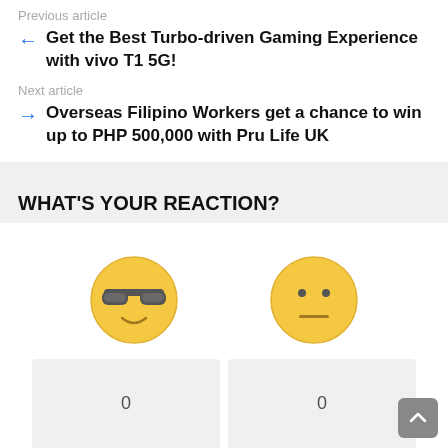Previous article
Get the Best Turbo-driven Gaming Experience with vivo T1 5G!
Next article
Overseas Filipino Workers get a chance to win up to PHP 500,000 with Pru Life UK
WHAT'S YOUR REACTION?
[Figure (infographic): Two reaction emoji faces: a cool face with sunglasses and a neutral face]
0
0
WOW
UNCOOL